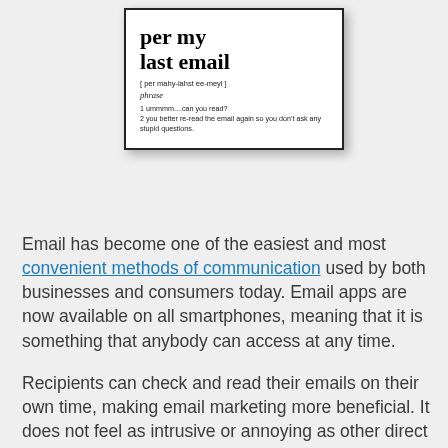[Figure (illustration): A dictionary-style card with bold text 'per my last email', phonetic pronunciation '[ per mahy-lahst ee-meyl ]', part of speech 'phrase', and two humorous definitions: '1 ummmm....can you read?' and '2 you better re-read the email again so you don't ask any stupid questions.']
Email has become one of the easiest and most convenient methods of communication used by both businesses and consumers today. Email apps are now available on all smartphones, meaning that it is something that anybody can access at any time.
Recipients can check and read their emails on their own time, making email marketing more beneficial. It does not feel as intrusive or annoying as other direct marketing methods such as cold calling. Because of this,